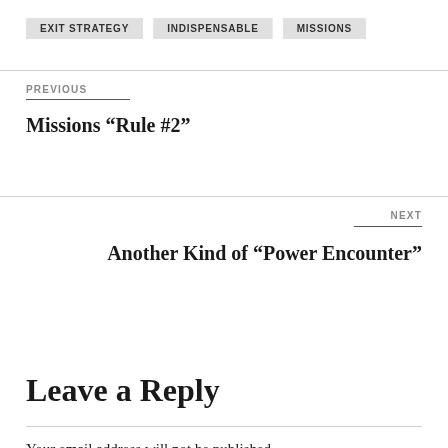EXIT STRATEGY
INDISPENSABLE
MISSIONS
PREVIOUS
Missions “Rule #2”
NEXT
Another Kind of “Power Encounter”
Leave a Reply
Your email address will not be published.